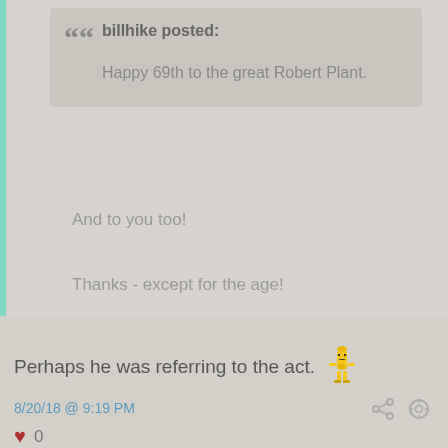billhike posted: Happy 69th to the great Robert Plant.
And to you too!
Thanks - except for the age!
Perhaps he was referring to the act.
8/20/18 @ 9:19 PM
0